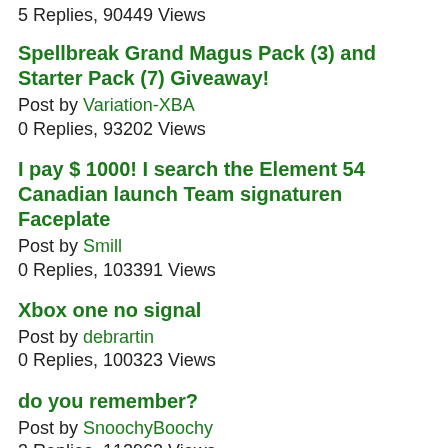5 Replies, 90449 Views
Spellbreak Grand Magus Pack (3) and Starter Pack (7) Giveaway!
Post by Variation-XBA
0 Replies, 93202 Views
I pay $ 1000! I search the Element 54 Canadian launch Team signaturen Faceplate
Post by Smill
0 Replies, 103391 Views
Xbox one no signal
Post by debrartin
0 Replies, 100323 Views
do you remember?
Post by SnoochyBoochy
3 Replies, 112962 Views
i haz xbox
Post by SnoochyBoochy